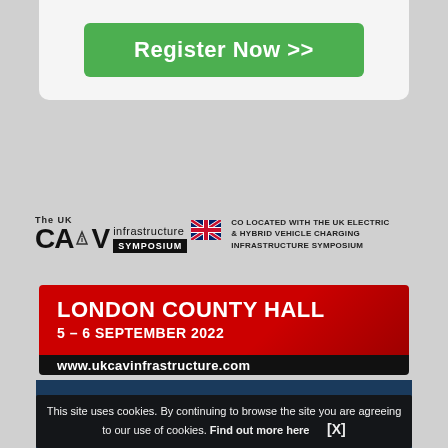[Figure (other): Green 'Register Now >>' button on light grey card background]
[Figure (logo): The UK CAV infrastructure SYMPOSIUM logo with Union Jack flag, and co-located text: CO LOCATED WITH THE UK ELECTRIC & HYBRID VEHICLE CHARGING INFRASTRUCTURE SYMPOSIUM]
[Figure (infographic): Event banner with red background: LONDON COUNTY HALL, 5 - 6 SEPTEMBER 2022, and black bar with www.ukcavinfrastructure.com]
[Figure (screenshot): Dark teal background image (partial, bottom of page)]
This site uses cookies. By continuing to browse the site you are agreeing to our use of cookies. Find out more here   [X]